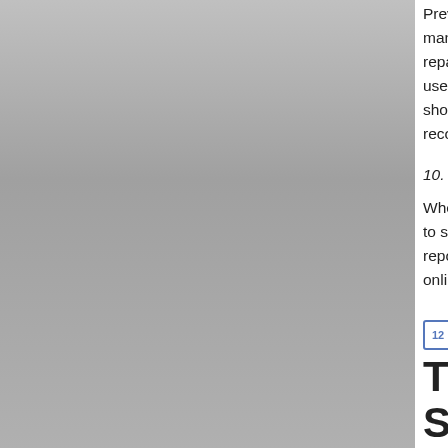Prevention of hate crimes by researching and many human and material resources entailed repairing material damages and caring for victims used for preventing terrorism and/or ordinary crimes should be re-directed for detecting and preventing reconnaissance among known extremist right-
10. Reach out to other hate crime victims.
When all the essential steps are taken to assist to share support information with others, who report hate crimes. Similarly to the electronic online resource for reporting hate crimes should
September 24th, 2013  reports  Comm
The Treatment of Migrants in Spanish Detention Centers
Pro Igual´s Intervention at the OSCE Human Dimension Meeting Working Session 3: Violence Against Women
The following are the summary and recommendations